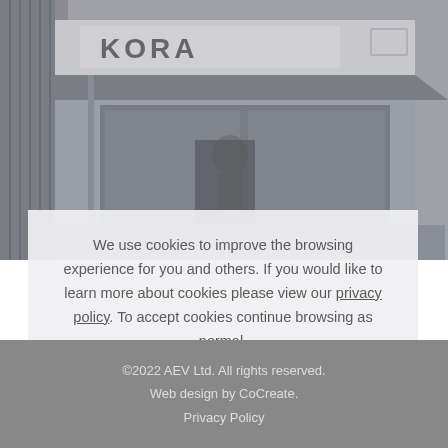[Figure (photo): Photograph of a building exterior with signage reading 'KORA' visible at top, grey facade with windows and canopy.]
We use cookies to improve the browsing experience for you and others. If you would like to learn more about cookies please view our privacy policy. To accept cookies continue browsing as normal.
I accept & understand how cookies will be used
©2022 AEV Ltd. All rights reserved.
Web design by CoCreate.
Privacy Policy